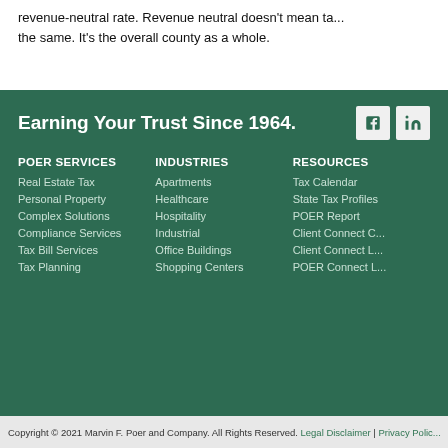revenue-neutral rate. Revenue neutral doesn't mean ta... the same. It's the overall county as a whole.
Earning Your Trust Since 1964.
POER SERVICES
Real Estate Tax
Personal Property
Complex Solutions
Compliance Services
Tax Bill Services
Tax Planning
INDUSTRIES
Apartments
Healthcare
Hospitality
Industrial
Office Buildings
Shopping Centers
RESOURCES
Tax Calendar
State Tax Profiles
POER Report
Client Connect O...
Client Connect L...
POER Connect L...
Copyright © 2021 Marvin F. Poer and Company. All Rights Reserved. Legal Disclaimer | Privacy Polic...